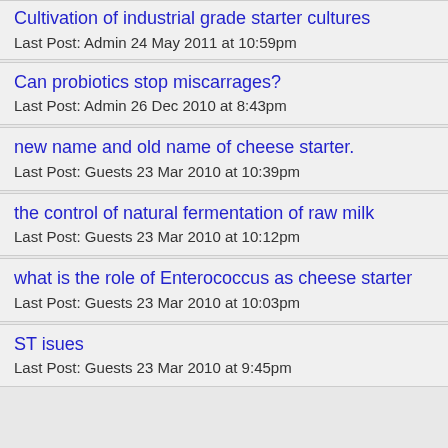Cultivation of industrial grade starter cultures
Last Post: Admin 24 May 2011 at 10:59pm
Can probiotics stop miscarrages?
Last Post: Admin 26 Dec 2010 at 8:43pm
new name and old name of cheese starter.
Last Post: Guests 23 Mar 2010 at 10:39pm
the control of natural fermentation of raw milk
Last Post: Guests 23 Mar 2010 at 10:12pm
what is the role of Enterococcus as cheese starter
Last Post: Guests 23 Mar 2010 at 10:03pm
ST isues
Last Post: Guests 23 Mar 2010 at 9:45pm